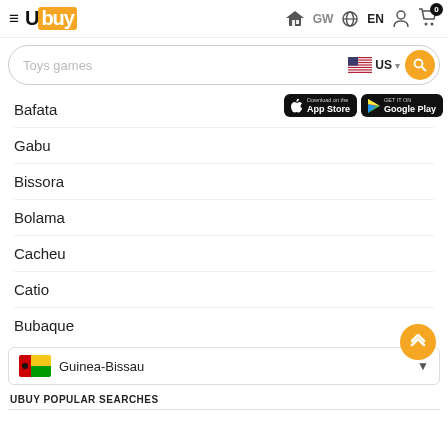Ubuy GW EN — header navigation
Toys games | US
Bafata
Gabu
Bissora
Bolama
Cacheu
Catio
Bubaque
Guinea-Bissau
UBUY POPULAR SEARCHES